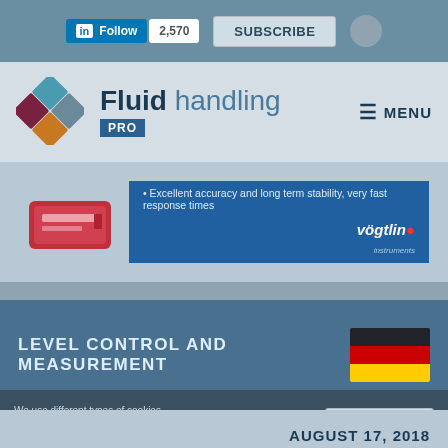[Figure (screenshot): LinkedIn Follow button with 2,570 followers count, Subscribe button, and user icon in top navigation bar]
[Figure (logo): Fluid handling PRO logo with diamond-shaped icon in blue, teal, orange and gray colors]
MENU
[Figure (infographic): Vogtlin instruments advertisement banner showing a flow measurement device with text: Excellent accuracy and long term stability, very fast response times]
LEVEL CONTROL AND MEASUREMENT
[Figure (illustration): German flag icon]
AUGUST 17, 2018
We use different types of cookies. Read our cookie statement here
Settings  Accept all cookies